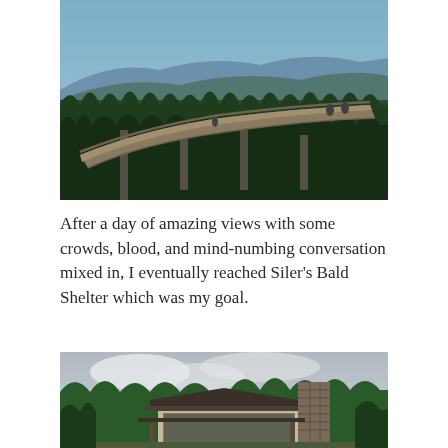[Figure (photo): Aerial walkway/ramp winding through dense evergreen forest with mountain ridges visible in the background under a cloudy sky. People can be seen on the walkway.]
After a day of amazing views with some crowds, blood, and mind-numbing conversation mixed in, I eventually reached Siler's Bald Shelter which was my goal.
[Figure (photo): A rustic shelter building with a dark roof and stone chimney, surrounded by tall evergreen trees under a cloudy sky.]